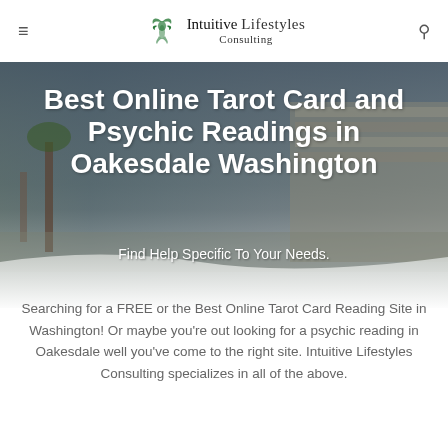Intuitive Lifestyles Consulting
Best Online Tarot Card and Psychic Readings in Oakesdale Washington
Find Help Specific To Your Needs.
Searching for a FREE or the Best Online Tarot Card Reading Site in Washington! Or maybe you're out looking for a psychic reading in Oakesdale well you've come to the right site. Intuitive Lifestyles Consulting specializes in all of the above.